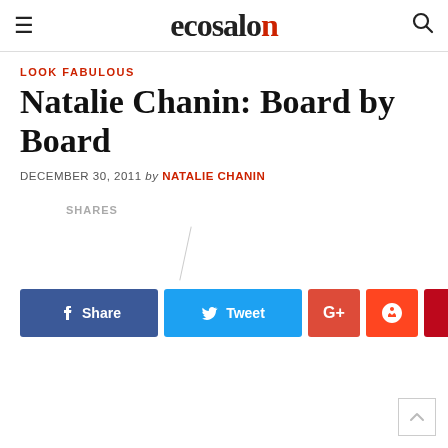ecosalon
LOOK FABULOUS
Natalie Chanin: Board by Board
DECEMBER 30, 2011 by NATALIE CHANIN
SHARES
[Figure (infographic): Social sharing buttons: Share (Facebook), Tweet (Twitter), G+ (Google Plus), StumbleUpon, Save (Pinterest)]